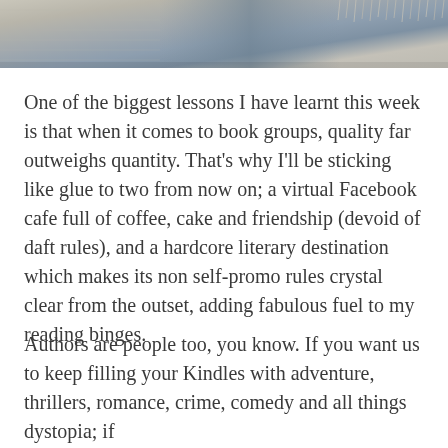[Figure (photo): Partial photo of folded knitted or woven fabric in grey and blue tones, cropped to show only the top portion.]
One of the biggest lessons I have learnt this week is that when it comes to book groups, quality far outweighs quantity. That’s why I’ll be sticking like glue to two from now on; a virtual Facebook cafe full of coffee, cake and friendship (devoid of daft rules), and a hardcore literary destination which makes its non self-promo rules crystal clear from the outset, adding fabulous fuel to my reading binges.
Authors are people too, you know. If you want us to keep filling your Kindles with adventure, thrillers, romance, crime, comedy and all things dystopia; if you want us to be the books that give you...